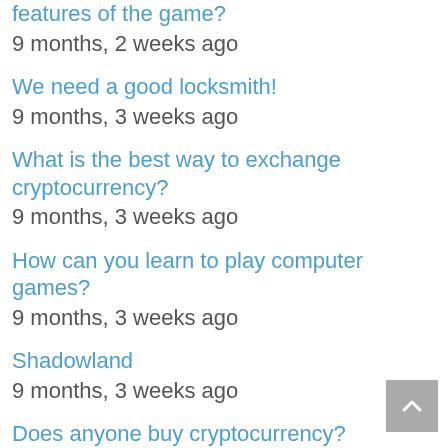features of the game?
9 months, 2 weeks ago
We need a good locksmith!
9 months, 3 weeks ago
What is the best way to exchange cryptocurrency?
9 months, 3 weeks ago
How can you learn to play computer games?
9 months, 3 weeks ago
Shadowland
9 months, 3 weeks ago
Does anyone buy cryptocurrency?
9 months, 4 weeks ago
recurring invoices & accepting online payments